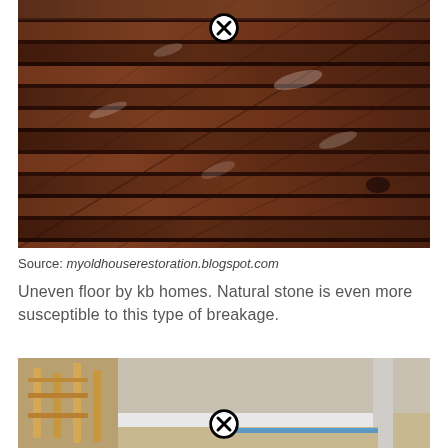[Figure (photo): Close-up photo of dark reddish-brown wood planks on a deck or floor, viewed at an angle. The wood has grain texture and some white residue or staining visible on the surface.]
Source: myoldhouserestoration.blogspot.com
Uneven floor by kb homes. Natural stone is even more susceptible to this type of breakage.
[Figure (photo): Photo showing an uneven floor near a wall with baseboard trim. Wooden ladder-back chairs are visible on the left. Blue painter's tape is on the floor near the wall. The floor surface appears uneven or warped.]